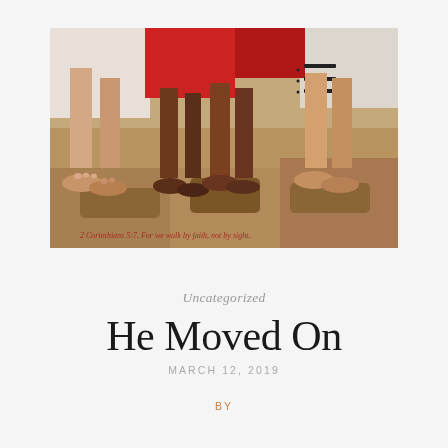[Figure (photo): Close-up photo of several people's bare feet on sandy beach/ground. Some feet are darker-skinned, some lighter. There is a red circular shape and a hamburger menu icon visible in the upper portion. Red cursive text at the bottom reads: '2 Corinthians 5:7. For we walk by faith, not by sight.']
Uncategorized
He Moved On
MARCH 12, 2019
BY